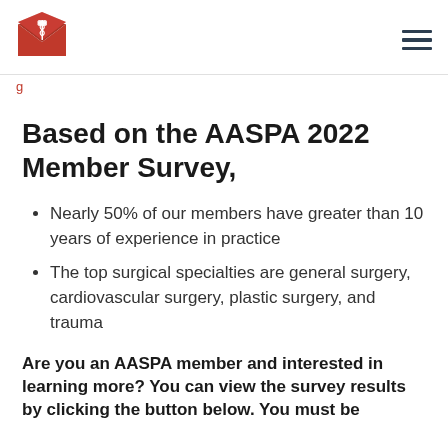[Figure (logo): AASPA logo: red envelope shape with caduceus medical symbol]
Based on the AASPA 2022 Member Survey,
Nearly 50% of our members have greater than 10 years of experience in practice
The top surgical specialties are general surgery, cardiovascular surgery, plastic surgery, and trauma
Are you an AASPA member and interested in learning more? You can view the survey results by clicking the button below. You must be